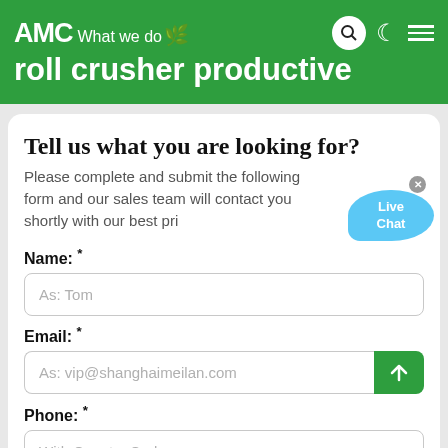AMC What we do / roll crusher productive
Tell us what you are looking for?
Please complete and submit the following form and our sales team will contact you shortly with our best pri
Name: *
As: Tom
Email: *
As: vip@shanghaimeilan.com
Phone: *
With Country Code
The Location of the Project: